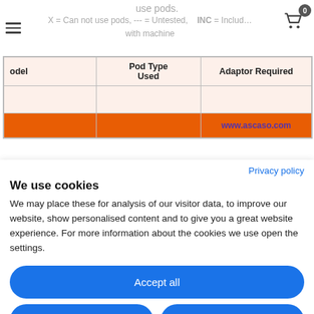use pods.
X = Can not use pods, --- = Untested,    INC = Included with machine
| odel | Pod Type Used | Adaptor Required |
| --- | --- | --- |
|  |  |  |
|  |  | www.ascaso.com |
Privacy policy
We use cookies
We may place these for analysis of our visitor data, to improve our website, show personalised content and to give you a great website experience. For more information about the cookies we use open the settings.
Accept all
Deny
No, adjust